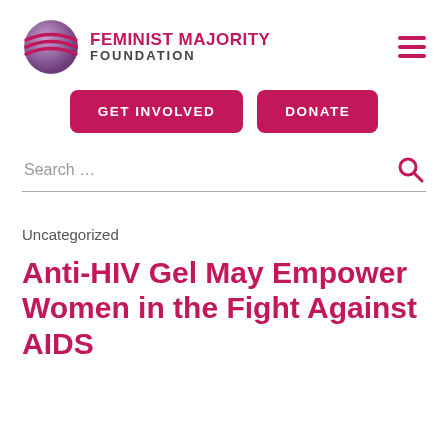FEMINIST MAJORITY FOUNDATION
GET INVOLVED   DONATE
Search …
Uncategorized
Anti-HIV Gel May Empower Women in the Fight Against AIDS